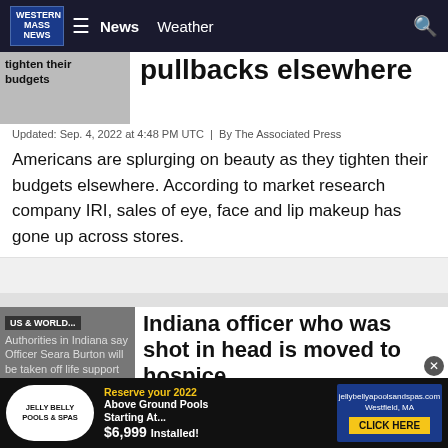Western Mass News | News | Weather
tighten their budgets
pullbacks elsewhere
Updated: Sep. 4, 2022 at 4:48 PM UTC  |  By The Associated Press
Americans are splurging on beauty as they tighten their budgets elsewhere. According to market research company IRI, sales of eye, face and lip makeup has gone up across stores.
[Figure (photo): Thumbnail image with text overlay about beauty/budgets article]
[Figure (photo): Thumbnail with US & WORLD badge and text about Indiana officer Seara Burton]
Indiana officer who was shot in head is moved to hospice
Updated: Sep. 4, 2022 at 3:11 PM UTC  |  By The Associated Press
The Richmond Police Department says 28-year-old Officer Seara Burton was transferred to a hospice facility in the Richmond area on Saturday.
[Figure (infographic): Advertisement banner: Jelly Belly Pools and Spas - Reserve your 2022 Above Ground Pools Starting At... $6,999 Installed! jellybellyapoolsandspas.com Westfield, MA CLICK HERE]